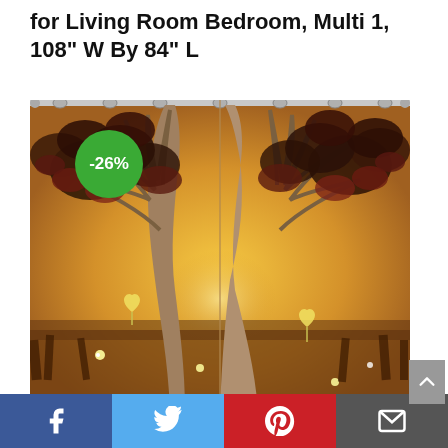for Living Room Bedroom, Multi 1, 108" W By 84" L
[Figure (photo): Product photo of decorative curtains showing an autumn tree scene with golden/orange sky, dark foliage, heart-shaped lanterns, and magical sparkles. A -26% discount badge appears in the upper left of the image.]
Facebook | Twitter | Pinterest | Email social sharing bar